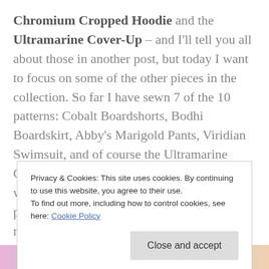Chromium Cropped Hoodie and the Ultramarine Cover-Up – and I'll tell you all about those in another post, but today I want to focus on some of the other pieces in the collection. So far I have sewn 7 of the 10 patterns: Cobalt Boardshorts, Bodhi Boardskirt, Abby's Marigold Pants, Viridian Swimsuit, and of course the Ultramarine Cover-Up and Cropped Hoodie. I adore how well it all goes together and I already have plans for the other three patterns as well. It really is the perfect summer pattern capsule. The complete collection
Privacy & Cookies: This site uses cookies. By continuing to use this website, you agree to their use.
To find out more, including how to control cookies, see here: Cookie Policy
[Figure (photo): Partial image of colorful fabric visible at the bottom of the page in pink, blue, and peach tones.]